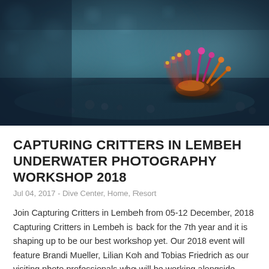[Figure (photo): Close-up underwater/macro photo of a colorful nudibranch or small sea creature with red, pink, yellow and orange appendages resting on dark sandy/rocky substrate. The background is blurred teal/blue-gray bokeh.]
CAPTURING CRITTERS IN LEMBEH UNDERWATER PHOTOGRAPHY WORKSHOP 2018
Jul 04, 2017 - Dive Center, Home, Resort
Join Capturing Critters in Lembeh from 05-12 December, 2018 Capturing Critters in Lembeh is back for the 7th year and it is shaping up to be our best workshop yet. Our 2018 event will feature Brandi Mueller, Lilian Koh and Tobias Friedrich as our visiting photo professionals who will be working alongside...